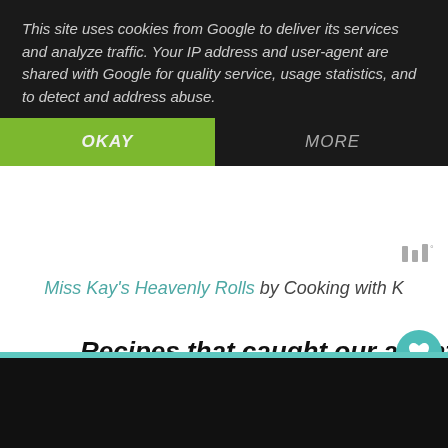This site uses cookies from Google to deliver its services and analyze traffic. Your IP address and user-agent are shared with Google for quality service, usage statistics, and to detect and address abuse.
OKAY
MORE
Miss Kay's Heavenly Rolls by Cooking with K
Recipes that caught our attention ~
[Figure (photo): Close-up photo of glazed rolls or pastry bread, golden-brown with icing]
1
WHAT'S NEXT → Taco Chicken Casserole